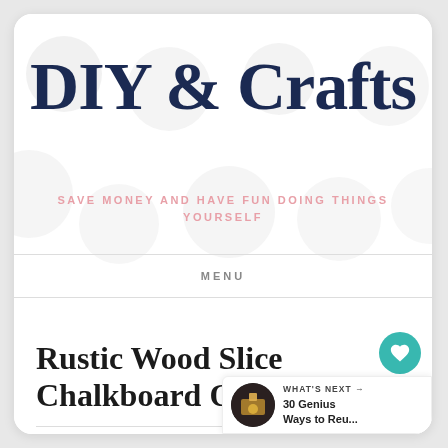DIY & Crafts
SAVE MONEY AND HAVE FUN DOING THINGS YOURSELF
MENU
Rustic Wood Slice Chalkboard Ornament
DECEMBER 7, 2021  |  BY KATIE HALE  |  LEAVE A COMMENT
[Figure (other): What's Next panel showing thumbnail image and text '30 Genius Ways to Reu...']